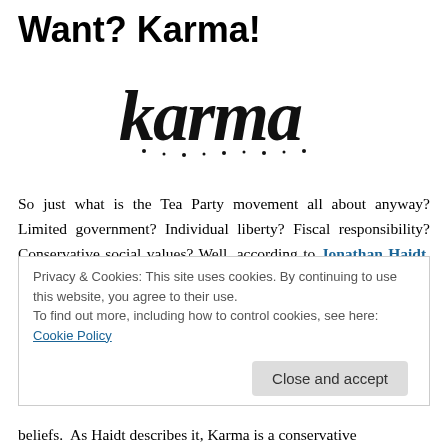Want? Karma!
[Figure (illustration): Handwritten/brush-style logo of the word 'karma' in black ink on white background]
So just what is the Tea Party movement all about anyway? Limited government? Individual liberty? Fiscal responsibility? Conservative social values? Well, according to Jonathan Haidt, Professor of Psychology at the University of Virginia, in an article that appeared today in the Wall Street Journal, what drives many adherents of
Privacy & Cookies: This site uses cookies. By continuing to use this website, you agree to their use.
To find out more, including how to control cookies, see here: Cookie Policy
beliefs. As Haidt describes it, Karma is a conservative